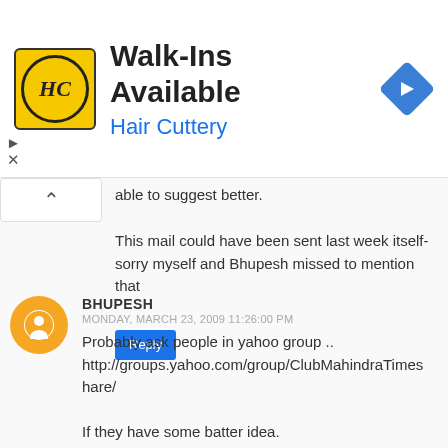[Figure (advertisement): Hair Cuttery ad banner with HC logo, 'Walk-Ins Available' heading, 'Hair Cuttery' subtitle in blue, and blue diamond arrow icon]
able to suggest better.
This mail could have been sent last week itself- sorry myself and Bhupesh missed to mention that
Reply
BHUPESH
MONDAY, MARCH 23, 2009 11:26:00 PM
Probably ask people in yahoo group .. http://groups.yahoo.com/group/ClubMahindraTimes hare/

If they have some batter idea.
Reply
MEENU GUPTA
TUESDAY, MARCH 24, 2009 11:17:00 AM